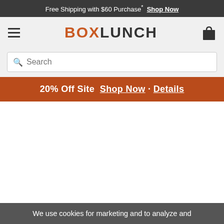Free Shipping with $60 Purchase* Shop Now
[Figure (logo): BoxLunch logo with hamburger menu and shopping bag icon]
Search
20% Off Site  Shop Now · Details
[Figure (photo): Product image area (blank/white)]
Home / Accessories / Pins
Star Wars Babu Frik Pin
We use cookies for marketing and to analyze and